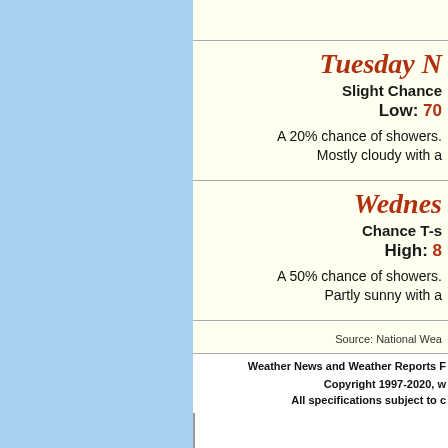Tuesday Night
Slight Chance
Low: 70
A 20% chance of showers. Mostly cloudy with a
Wednesday
Chance T-s
High: 8
A 50% chance of showers. Partly sunny with a
Source: National Wea
Weather News and Weather Reports F
Copyright 1997-2020, w
All specifications subject to c